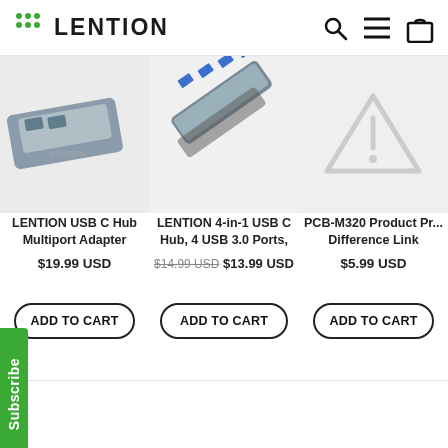LENTION
[Figure (photo): LENTION USB C Hub multiport adapter product image]
LENTION USB C Hub Multiport Adapter with...
$19.99 USD
[Figure (photo): LENTION 4-in-1 USB C Hub with 4 USB 3.0 ports product image]
LENTION 4-in-1 USB C Hub, 4 USB 3.0 Ports, US...
$14.99 USD  $13.99 USD
[Figure (photo): PCB-M320 product - placeholder image with triangle warning icon]
PCB-M320 Product Pr... Difference Link
$5.99 USD
Subscribe